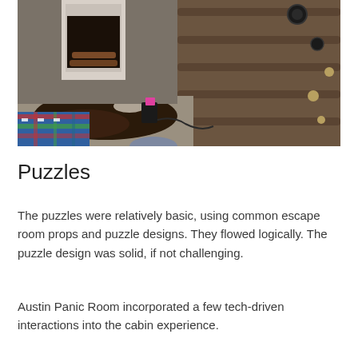[Figure (photo): Interior photo of an escape room cabin scene. Shows a stone/brick fireplace with white mantle on the left, a plaid couch/cushion in the lower left, a dark brown/black animal hide rug on the floor, a black electronic device with a pink tag on the floor, and a wall made of horizontal logs/timber on the right side with circular metal fittings. The scene is photographed from an overhead/angled perspective.]
Puzzles
The puzzles were relatively basic, using common escape room props and puzzle designs. They flowed logically. The puzzle design was solid, if not challenging.
Austin Panic Room incorporated a few tech-driven interactions into the cabin experience.